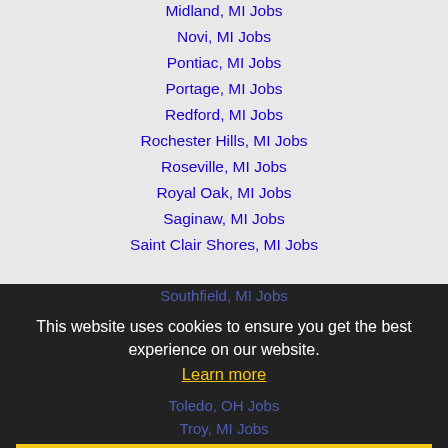Midland, MI Jobs
Novi, MI Jobs
Pontiac, MI Jobs
Portage, MI Jobs
Redford, MI Jobs
Rochester Hills, MI Jobs
Roseville, MI Jobs
Royal Oak, MI Jobs
Saginaw, MI Jobs
Saint Clair Shores, MI Jobs
Southfield, MI Jobs
This website uses cookies to ensure you get the best experience on our website.
Learn more
Toledo, OH Jobs
Troy, MI Jobs
Got it!
Warren, MI Jobs
Waterford, MI Jobs
West Bloomfield Township, MI Jobs
Westland, MI Jobs